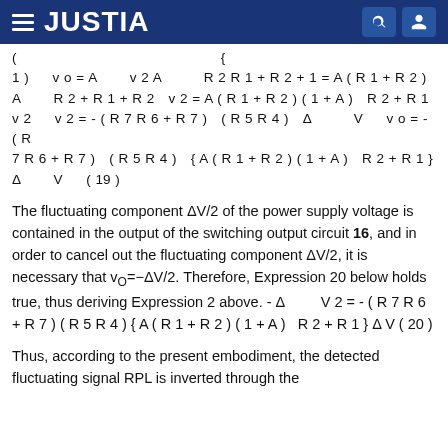JUSTIA
The fluctuating component ΔV/2 of the power supply voltage is contained in the output of the switching output circuit 16, and in order to cancel out the fluctuating component ΔV/2, it is necessary that vO=−ΔV/2. Therefore, Expression 20 below holds true, thus deriving Expression 2 above. - Δ      V 2 = - ( R 7 R 6 + R 7 ) ( R 5 R 4 ) { A ( R 1 + R 2 ) ( 1 + A )  R 2 + R 1 } Δ V ( 20 )
Thus, according to the present embodiment, the detected fluctuating signal RPL is inverted through the